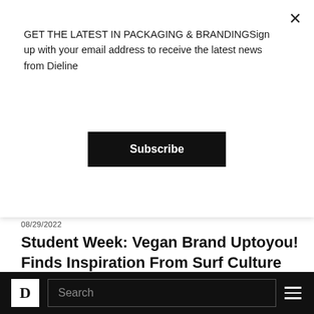GET THE LATEST IN PACKAGING & BRANDINGSign up with your email address to receive the latest news from Dieline
Subscribe
08/29/2022
Student Week: Vegan Brand Uptoyou! Finds Inspiration From Surf Culture
[Figure (photo): Colorful can with AUCOCO branding on an orange gradient background]
D  Search  ≡